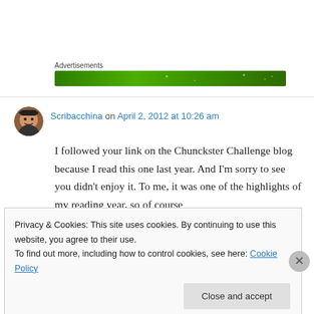Advertisements
[Figure (illustration): Green advertisement banner]
Scribacchina on April 2, 2012 at 10:26 am
I followed your link on the Chunckster Challenge blog because I read this one last year. And I'm sorry to see you didn't enjoy it. To me, it was one of the highlights of my reading year, so of course
Privacy & Cookies: This site uses cookies. By continuing to use this website, you agree to their use.
To find out more, including how to control cookies, see here: Cookie Policy
Close and accept